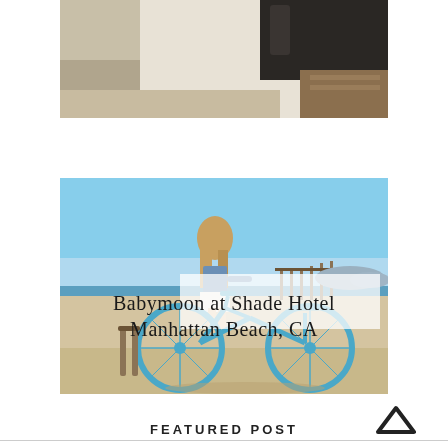[Figure (photo): Partial photo showing dark boot/shoe and light-colored fabric or carpet, viewed from above at an angle]
[Figure (photo): Beach scene at Manhattan Beach CA with a woman in a denim jacket standing near a light blue cruiser bicycle, sandy beach with pier in background, blue sky]
Babymoon at Shade Hotel Manhattan Beach, CA
[Figure (other): Up arrow chevron icon for back-to-top navigation]
FEATURED POST